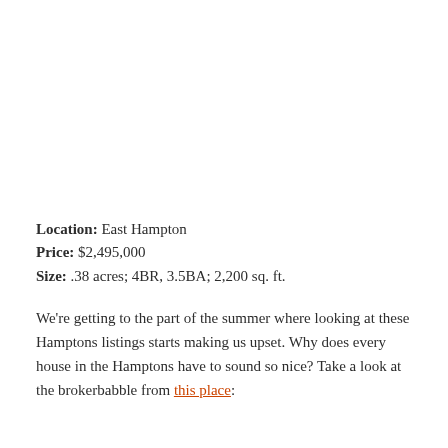Location: East Hampton
Price: $2,495,000
Size: .38 acres; 4BR, 3.5BA; 2,200 sq. ft.
We're getting to the part of the summer where looking at these Hamptons listings starts making us upset. Why does every house in the Hamptons have to sound so nice? Take a look at the brokerbabble from this place: